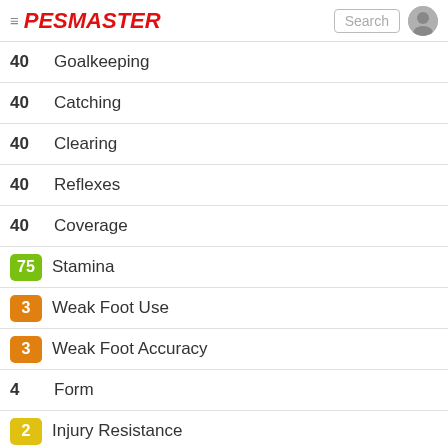PESMASTER
40  Goalkeeping
40  Catching
40  Clearing
40  Reflexes
40  Coverage
75  Stamina
3  Weak Foot Use
3  Weak Foot Accuracy
4  Form
2  Injury Resistance
Playing Style
Creative Playmaker